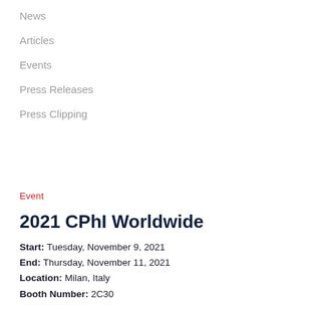News
Articles
Events
Press Releases
Press Clipping
Event
2021 CPhI Worldwide
Start: Tuesday, November 9, 2021
End: Thursday, November 11, 2021
Location: Milan, Italy
Booth Number: 2C30